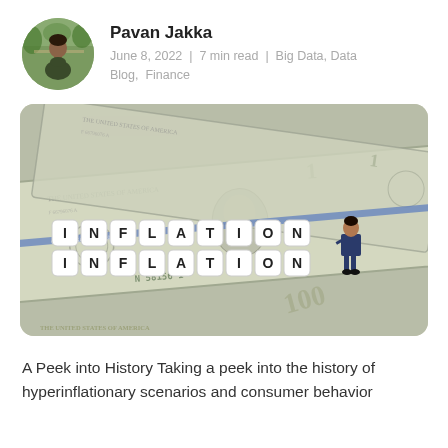[Figure (photo): Circular avatar photo of Pavan Jakka, a young man in a dark green t-shirt outdoors with trees in background]
Pavan Jakka
June 8, 2022  |  7 min read  |  Big Data, Data Blog,  Finance
[Figure (photo): Photograph showing US dollar bills spread out with letter-tile dice spelling INFLATION twice stacked, and a small figurine of a businessman standing next to the tiles]
A Peek into History Taking a peek into the history of hyperinflationary scenarios and consumer behavior